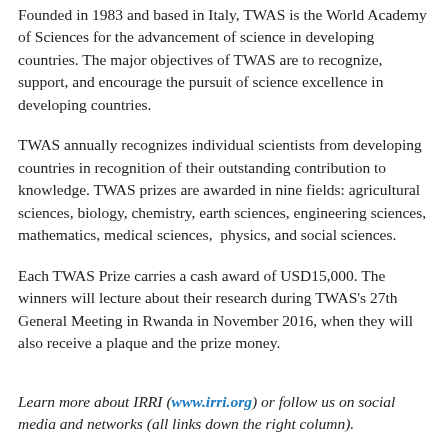Founded in 1983 and based in Italy, TWAS is the World Academy of Sciences for the advancement of science in developing countries. The major objectives of TWAS are to recognize, support, and encourage the pursuit of science excellence in developing countries.
TWAS annually recognizes individual scientists from developing countries in recognition of their outstanding contribution to knowledge. TWAS prizes are awarded in nine fields: agricultural sciences, biology, chemistry, earth sciences, engineering sciences, mathematics, medical sciences,  physics, and social sciences.
Each TWAS Prize carries a cash award of USD15,000. The winners will lecture about their research during TWAS's 27th General Meeting in Rwanda in November 2016, when they will also receive a plaque and the prize money.
Learn more about IRRI (www.irri.org) or follow us on social media and networks (all links down the right column).